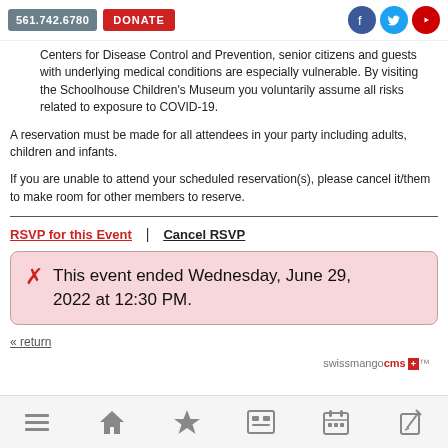561.742.6780 | DONATE | [social icons: Facebook, Twitter, YouTube]
Centers for Disease Control and Prevention, senior citizens and guests with underlying medical conditions are especially vulnerable. By visiting the Schoolhouse Children's Museum you voluntarily assume all risks related to exposure to COVID-19.
A reservation must be made for all attendees in your party including adults, children and infants.
If you are unable to attend your scheduled reservation(s), please cancel it/them to make room for other members to reserve.
RSVP for this Event | Cancel RSVP
✗ This event ended Wednesday, June 29, 2022 at 12:30 PM.
« return
swissmangocms [flag] | navigation icons: menu, home, star, news, calendar, edit